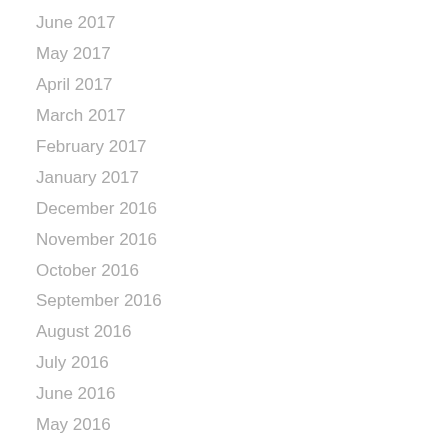June 2017
May 2017
April 2017
March 2017
February 2017
January 2017
December 2016
November 2016
October 2016
September 2016
August 2016
July 2016
June 2016
May 2016
November 2015
September 2015
June 2015